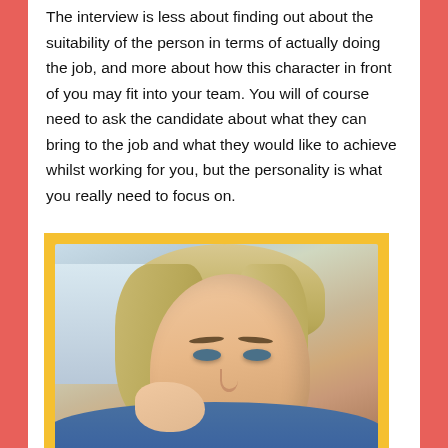The interview is less about finding out about the suitability of the person in terms of actually doing the job, and more about how this character in front of you may fit into your team. You will of course need to ask the candidate about what they can bring to the job and what they would like to achieve whilst working for you, but the personality is what you really need to focus on.
[Figure (photo): Close-up portrait photo of a young blonde woman with blue eyes, styled hair, and a nose ring, looking toward the camera. The photo has a yellow/gold border.]